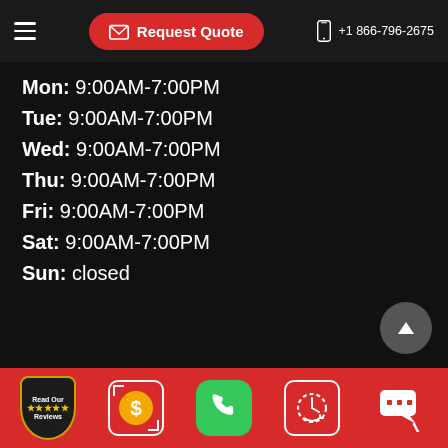Request Quote  +1 866-796-2675
Mon: 9:00AM-7:00PM
Tue: 9:00AM-7:00PM
Wed: 9:00AM-7:00PM
Thu: 9:00AM-7:00PM
Fri: 9:00AM-7:00PM
Sat: 9:00AM-7:00PM
Sun: closed
Read Our Reviews | $ | phone | clock | chat